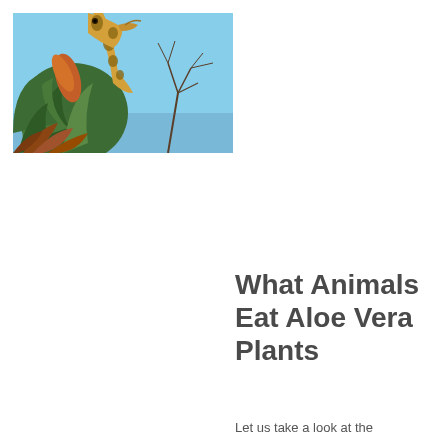[Figure (photo): A giraffe eating from an aloe vera plant, photographed from below against a blue sky with bare tree branches visible]
What Animals Eat Aloe Vera Plants
Let us take a look at the